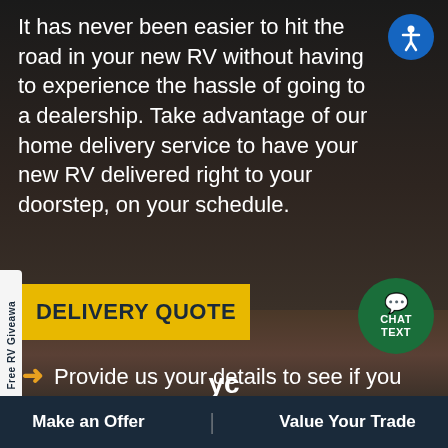It has never been easier to hit the road in your new RV without having to experience the hassle of going to a dealership. Take advantage of our home delivery service to have your new RV delivered right to your doorstep, on your schedule.
DELIVERY QUOTE
CHAT TEXT
Free RV Giveawa
➜ Provide us your details to see if you qualify for free delivery or get your Delivery quote
Make an Offer
yc
Value Your Trade